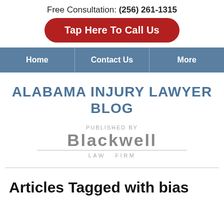Free Consultation: (256) 261-1315
Tap Here To Call Us
Home | Contact Us | More
ALABAMA INJURY LAWYER BLOG
[Figure (logo): Blackwell Law Firm logo — 'PUBLISHED BY' above large 'BLACKWELL' text with 'LAW FIRM' below a horizontal rule]
Articles Tagged with bias